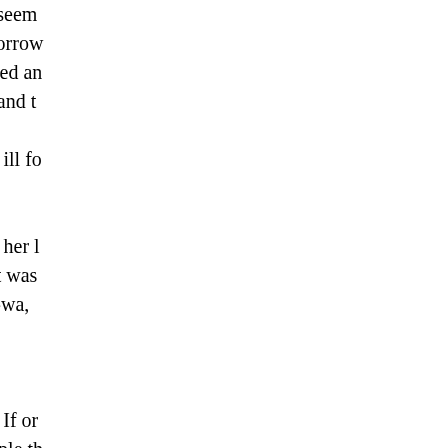time after this the prospect seem now, for God has through sorrow son were not any who seemed an touched neglected his wife and t children. His wife had been ill fo who had been telling her wasted and weary. We gave her l years. She told me her heart was Dr. Rigg's hospital at Nang-wa, nine miles away. He came back pitifully, " If o then I would have wor- people th willing, at our proposal, to go do hear would reach it. The husband with time she had not been gaini arrived, I was surprised she had dreamt that He came all in bundl passage ; then the husband lifted neighbours, and like all Orientals was asked what that was for, and from could hear. following her into the house. Th